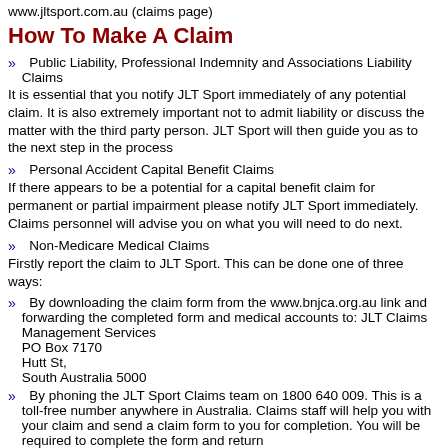www.jltsport.com.au (claims page)
How To Make A Claim
» Public Liability, Professional Indemnity and Associations Liability Claims
It is essential that you notify JLT Sport immediately of any potential claim. It is also extremely important not to admit liability or discuss the matter with the third party person. JLT Sport will then guide you as to the next step in the process
» Personal Accident Capital Benefit Claims
If there appears to be a potential for a capital benefit claim for permanent or partial impairment please notify JLT Sport immediately. Claims personnel will advise you on what you will need to do next.
» Non-Medicare Medical Claims
Firstly report the claim to JLT Sport. This can be done one of three ways:
» By downloading the claim form from the www.bnjca.org.au link and forwarding the completed form and medical accounts to: JLT Claims Management Services PO Box 7170 Hutt St, South Australia 5000
» By phoning the JLT Sport Claims team on 1800 640 009. This is a toll-free number anywhere in Australia. Claims staff will help you with your claim and send a claim form to you for completion. You will be required to complete the form and return